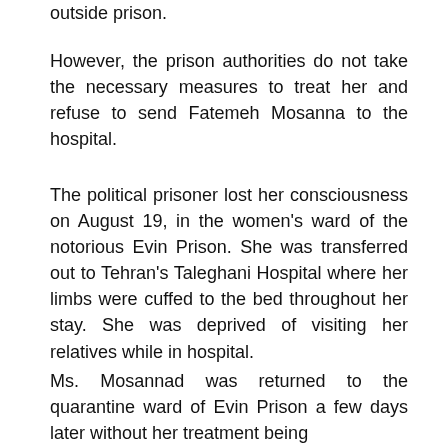outside prison.
However, the prison authorities do not take the necessary measures to treat her and refuse to send Fatemeh Mosanna to the hospital.
The political prisoner lost her consciousness on August 19, in the women's ward of the notorious Evin Prison. She was transferred out to Tehran's Taleghani Hospital where her limbs were cuffed to the bed throughout her stay. She was deprived of visiting her relatives while in hospital.
Ms. Mosannad was returned to the quarantine ward of Evin Prison a few days later without her treatment being